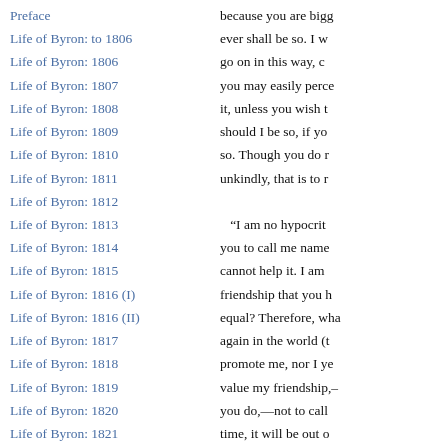Preface
Life of Byron: to 1806
Life of Byron: 1806
Life of Byron: 1807
Life of Byron: 1808
Life of Byron: 1809
Life of Byron: 1810
Life of Byron: 1811
Life of Byron: 1812
Life of Byron: 1813
Life of Byron: 1814
Life of Byron: 1815
Life of Byron: 1816 (I)
Life of Byron: 1816 (II)
Life of Byron: 1817
Life of Byron: 1818
Life of Byron: 1819
Life of Byron: 1820
Life of Byron: 1821
Life of Byron: 1822
Life of Byron: 1823
because you are bigg ever shall be so. I w go on in this way, c you may easily perce it, unless you wish t should I be so, if yo so. Though you do r unkindly, that is to r “I am no hypocrit you to call me name cannot help it. I am friendship that you h equal? Therefore, wha again in the world (t promote me, nor I ye value my friendship,– you do,—not to call time, it will be out o for an answer as soo